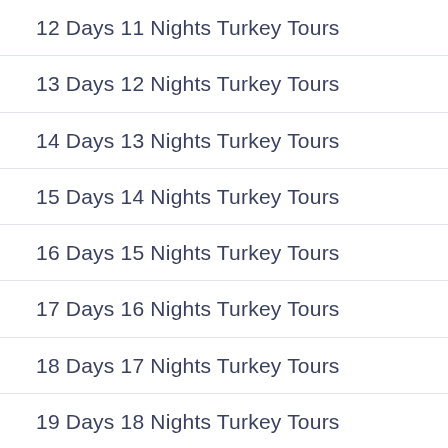12 Days 11 Nights Turkey Tours
13 Days 12 Nights Turkey Tours
14 Days 13 Nights Turkey Tours
15 Days 14 Nights Turkey Tours
16 Days 15 Nights Turkey Tours
17 Days 16 Nights Turkey Tours
18 Days 17 Nights Turkey Tours
19 Days 18 Nights Turkey Tours
2 Days 1 Night Turkey Tours